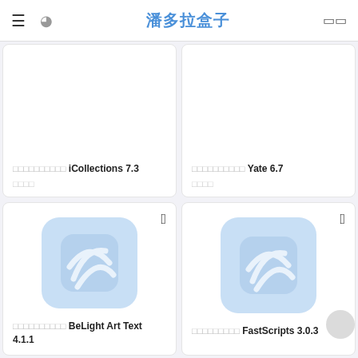≡ ◉ 潘多拉盒子 □□
□□□□□□□□□□ iCollections 7.3
□□□□
□□□□□□□□□□ Yate 6.7
□□□□
[Figure (screenshot): App icon placeholder with light blue rounded rectangle and decorative swirl pattern, Apple logo top right]
□□□□□□□□□□ BeLight Art Text 4.1.1
[Figure (screenshot): App icon placeholder with light blue rounded rectangle and decorative swirl pattern, Apple logo top right]
□□□□□□□□□ FastScripts 3.0.3